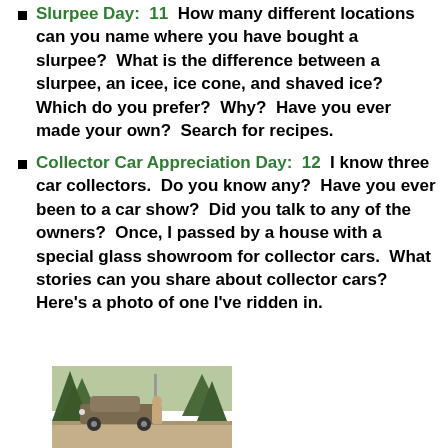Slurpee Day: 11 How many different locations can you name where you have bought a slurpee? What is the difference between a slurpee, an icee, ice cone, and shaved ice? Which do you prefer? Why? Have you ever made your own? Search for recipes.
Collector Car Appreciation Day: 12 I know three car collectors. Do you know any? Have you ever been to a car show? Did you talk to any of the owners? Once, I passed by a house with a special glass showroom for collector cars. What stories can you share about collector cars? Here's a photo of one I've ridden in.
[Figure (photo): A photograph of a vintage/collector car on a dirt road, with trees in the background and a person standing next to it.]